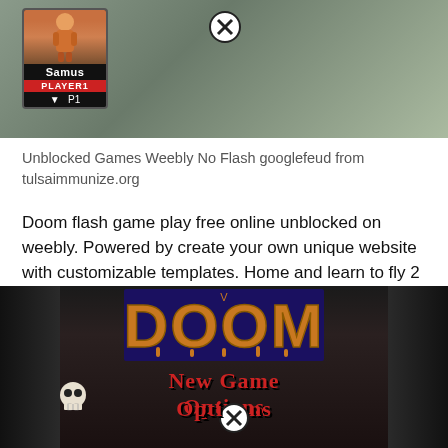[Figure (screenshot): Screenshot of a Super Smash Bros character selection screen showing Samus as Player 1, with a close/X button overlay]
Unblocked Games Weebly No Flash googlefeud from tulsaimmunize.org
Doom flash game play free online unblocked on weebly. Powered by create your own unique website with customizable templates. Home and learn to fly 2 minecraft duck life 4 download links new stick rpg hacked and drag racer v3 btd4 with spike tower pokemon tower defense 1 and 2 thing thing 3 and doom happy wheels hacked upgrade complete game important items such as magic.
[Figure (screenshot): Screenshot of the Doom game main menu showing the DOOM logo and menu options New Game, Options with a skull cursor and close button overlay]